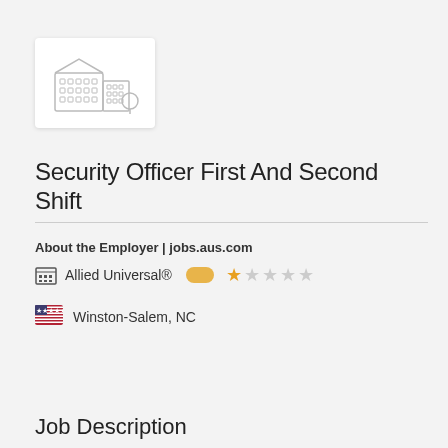[Figure (logo): Company logo placeholder: building/city icon in gray outline style on white card]
Security Officer First And Second Shift
About the Employer | jobs.aus.com
Allied Universal®  ★☆☆☆☆
Winston-Salem, NC
Job Description